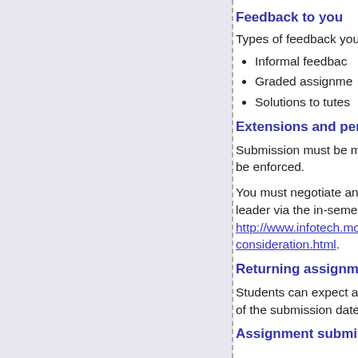Feedback to you
Types of feedback you
Informal feedbac
Graded assignme
Solutions to tutes
Extensions and pena
Submission must be m be enforced.
You must negotiate an leader via the in-semes http://www.infotech.mo consideration.html.
Returning assignmer
Students can expect a of the submission date
Assignment submiss